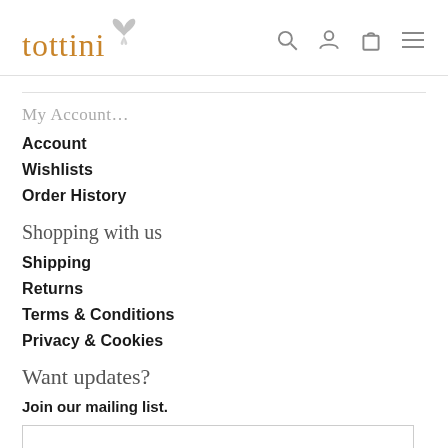[Figure (logo): Tottini logo with orange serif text and small butterfly graphic]
My Account
Account
Wishlists
Order History
Shopping with us
Shipping
Returns
Terms & Conditions
Privacy & Cookies
Want updates?
Join our mailing list.